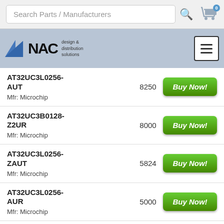[Figure (screenshot): Search bar with magnifying glass icon and shopping cart icon showing 0 items]
[Figure (logo): NAC design & distribution solutions logo with blue triangle]
AT32UC3L0256-AUT | Qty: 8250 | Mfr: Microchip | Buy Now!
AT32UC3B0128-Z2UR | Qty: 8000 | Mfr: Microchip | Buy Now!
AT32UC3L0256-ZAUT | Qty: 5824 | Mfr: Microchip | Buy Now!
AT32UC3L0256-AUR | Qty: 5000 | Mfr: Microchip | Buy Now!